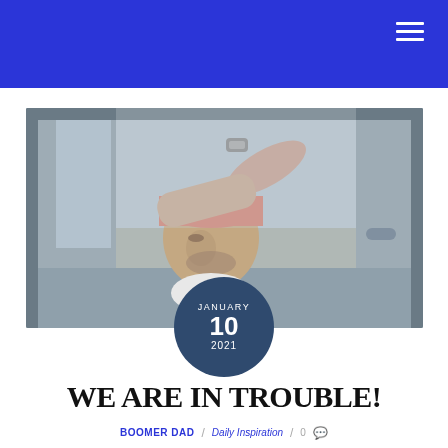[Figure (photo): Young man leaning his head out of a car window, resting on his arms, wearing a pink cap and white t-shirt with a watch on his wrist]
JANUARY 10 2021
WE ARE IN TROUBLE!
BOOMER DAD / Daily Inspiration / 0